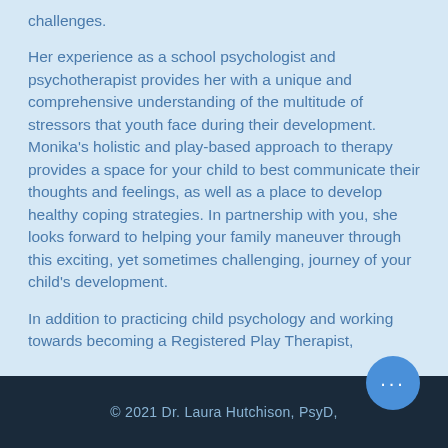challenges.
Her experience as a school psychologist and psychotherapist provides her with a unique and comprehensive understanding of the multitude of stressors that youth face during their development. Monika's holistic and play-based approach to therapy provides a space for your child to best communicate their thoughts and feelings, as well as a place to develop healthy coping strategies. In partnership with you, she looks forward to helping your family maneuver through this exciting, yet sometimes challenging, journey of your child's development.
In addition to practicing child psychology and working towards becoming a Registered Play Therapist,
© 2021 Dr. Laura Hutchison, PsyD,